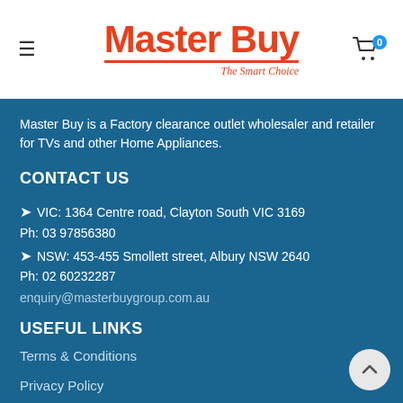Master Buy - The Smart Choice
Master Buy is a Factory clearance outlet wholesaler and retailer for TVs and other Home Appliances.
CONTACT US
VIC: 1364 Centre road, Clayton South VIC 3169
Ph: 03 97856380
NSW: 453-455 Smollett street, Albury NSW 2640
Ph: 02 60232287
enquiry@masterbuygroup.com.au
USEFUL LINKS
Terms & Conditions
Privacy Policy
Shipping Policy